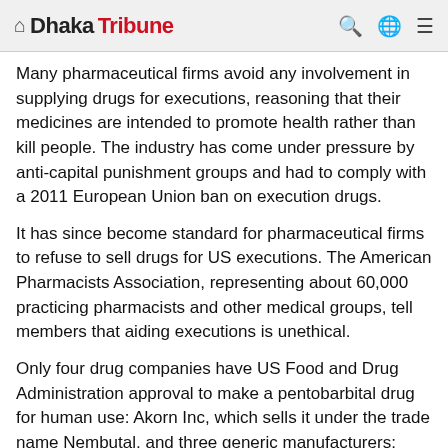Dhaka Tribune
Many pharmaceutical firms avoid any involvement in supplying drugs for executions, reasoning that their medicines are intended to promote health rather than kill people. The industry has come under pressure by anti-capital punishment groups and had to comply with a 2011 European Union ban on execution drugs.
It has since become standard for pharmaceutical firms to refuse to sell drugs for US executions. The American Pharmacists Association, representing about 60,000 practicing pharmacists and other medical groups, tell members that aiding executions is unethical.
Only four drug companies have US Food and Drug Administration approval to make a pentobarbital drug for human use: Akorn Inc, which sells it under the trade name Nembutal, and three generic manufacturers: Sagent Pharmaceuticals Inc, Custopharm Inc, and Renaissance Pharma Inc. But all four makers have anti-capital punishment policies and refuse to sell the drug to US prisons and the Justice Department.